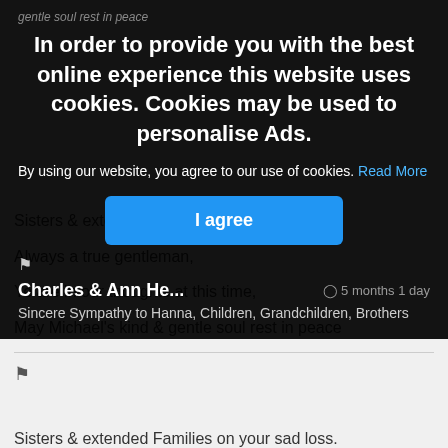gentle soul rest in peace
In order to provide you with the best online experience this website uses cookies. Cookies may be used to personalise Ads.
By using our website, you agree to our use of cookies. Read More
I agree
Charles & Ann He...
5 months 1 day
Sincere Sympathy to Hanna, Children, Grandchildren, Brothers
Sisters & extended Families on your sad loss.
Always a true gentleman,
Ye are in our thoughts at this time,
May Michael's kind & gentle soul rest in peace
Johnny &trisha cawley Leeds & barrack
5 months 1 day
Condolences to all Michael family a lovely gentleman god rest his